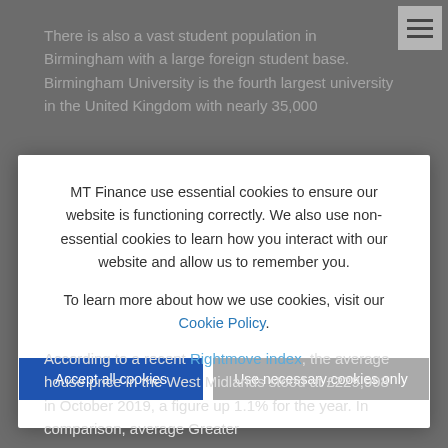There is also a vast student population in Birmingham with a large foreign student base. Birmingham University is the fourth largest university in the United Kingdom with nearly 35,000
[Figure (screenshot): Hamburger menu icon in top-right corner with three horizontal lines on white background]
MT Finance use essential cookies to ensure our website is functioning correctly. We also use non-essential cookies to learn how you interact with our website and allow us to remember you.
To learn more about how we use cookies, visit our Cookie Policy.
Accept all cookies | Use necessary cookies only
According to a recent Rightmove index, the average house price in the West Midlands stood at £229,998 in October 2019, a figure up 1.1% for the year. In comparison, average Greater